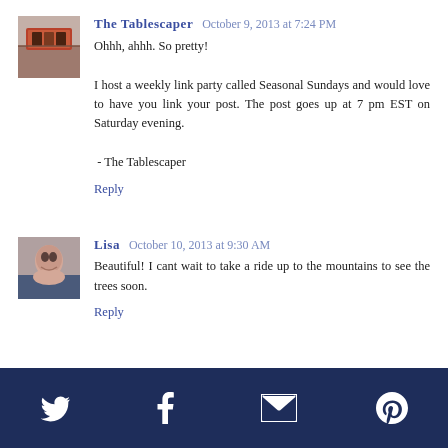The Tablescaper  October 9, 2013 at 7:24 PM
Ohhh, ahhh. So pretty!

I host a weekly link party called Seasonal Sundays and would love to have you link your post. The post goes up at 7 pm EST on Saturday evening.

 - The Tablescaper
Reply
Lisa  October 10, 2013 at 9:30 AM
Beautiful! I cant wait to take a ride up to the mountains to see the trees soon.
Reply
Twitter | Facebook | Email | Pinterest icons